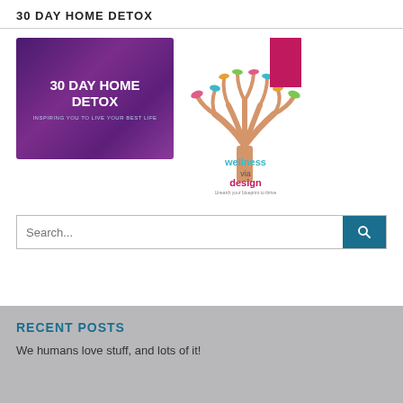30 DAY HOME DETOX
[Figure (illustration): Book cover with purple gradient background, white bold text reading '30 DAY HOME DETOX' and subtitle 'INSPIRING YOU TO LIVE YOUR BEST LIFE']
[Figure (logo): Wellness via Design logo: a tree with colorful birds and text 'wellness via design' with tagline 'Unearth your blueprint to thrive', with a pink rectangle above]
Search...
RECENT POSTS
We humans love stuff, and lots of it!